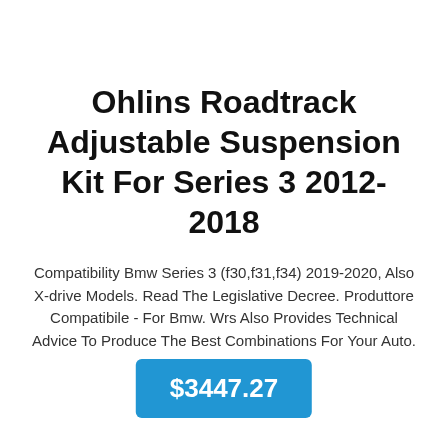Ohlins Roadtrack Adjustable Suspension Kit For Series 3 2012-2018
Compatibility Bmw Series 3 (f30,f31,f34) 2019-2020, Also X-drive Models. Read The Legislative Decree. Produttore Compatibile - For Bmw. Wrs Also Provides Technical Advice To Produce The Best Combinations For Your Auto.
$3447.27